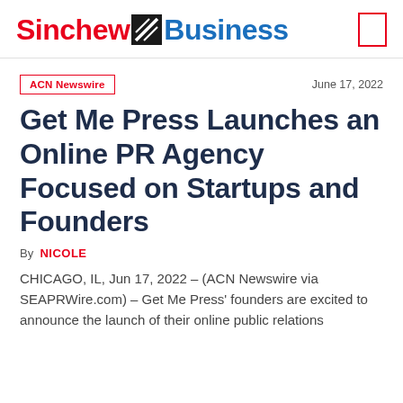Sinchew Business
ACN Newswire
June 17, 2022
Get Me Press Launches an Online PR Agency Focused on Startups and Founders
By NICOLE
CHICAGO, IL, Jun 17, 2022 – (ACN Newswire via SEAPRWire.com) – Get Me Press' founders are excited to announce the launch of their online public relations